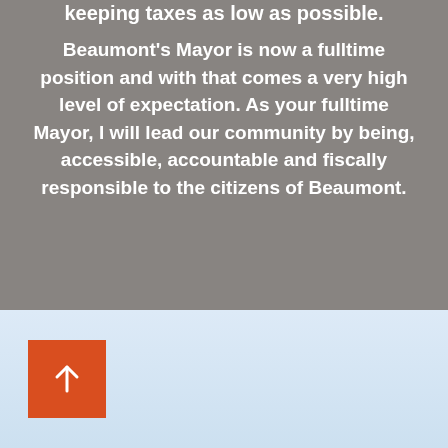keeping taxes as low as possible.
Beaumont's Mayor is now a fulltime position and with that comes a very high level of expectation. As your fulltime Mayor, I will lead our community by being, accessible, accountable and fiscally responsible to the citizens of Beaumont.
[Figure (other): Orange back-to-top button with upward arrow icon on a light blue gradient background]